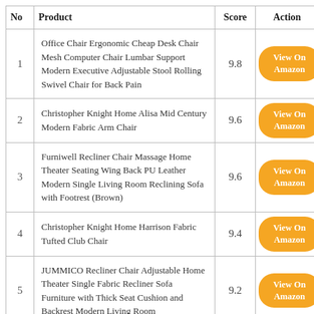| No | Product | Score | Action |
| --- | --- | --- | --- |
| 1 | Office Chair Ergonomic Cheap Desk Chair Mesh Computer Chair Lumbar Support Modern Executive Adjustable Stool Rolling Swivel Chair for Back Pain | 9.8 | View On Amazon |
| 2 | Christopher Knight Home Alisa Mid Century Modern Fabric Arm Chair | 9.6 | View On Amazon |
| 3 | Furniwell Recliner Chair Massage Home Theater Seating Wing Back PU Leather Modern Single Living Room Reclining Sofa with Footrest (Brown) | 9.6 | View On Amazon |
| 4 | Christopher Knight Home Harrison Fabric Tufted Club Chair | 9.4 | View On Amazon |
| 5 | JUMMICO Recliner Chair Adjustable Home Theater Single Fabric Recliner Sofa Furniture with Thick Seat Cushion and Backrest Modern Living Room | 9.2 | View On Amazon |